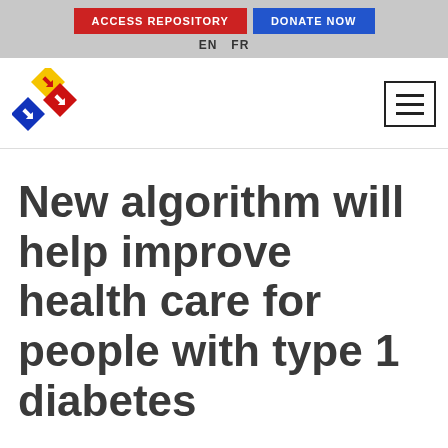ACCESS REPOSITORY   DONATE NOW   EN   FR
[Figure (logo): Diamond-shaped logo with yellow, red, and blue arrow diamonds]
[Figure (other): Hamburger menu icon (three horizontal lines in a bordered box)]
New algorithm will help improve health care for people with type 1 diabetes